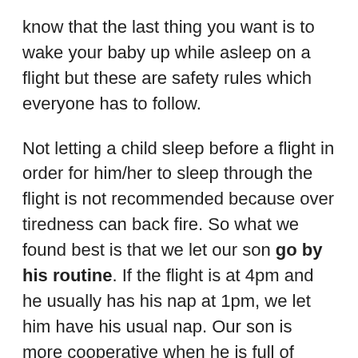know that the last thing you want is to wake your baby up while asleep on a flight but these are safety rules which everyone has to follow.
Not letting a child sleep before a flight in order for him/her to sleep through the flight is not recommended because over tiredness can back fire. So what we found best is that we let our son go by his routine. If the flight is at 4pm and he usually has his nap at 1pm, we let him have his usual nap. Our son is more cooperative when he is full of energy and not tired. Of course, every child is